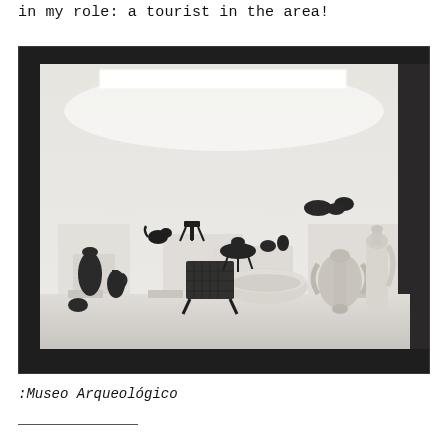in my role: a tourist in the area!
[Figure (photo): Museum display case showing archaeological artifacts including ancient pottery, vases, bronze figurines, and ceramic vessels arranged on white pedestals under bright overhead lighting in a dark-walled room.]
:Museo Arqueológico